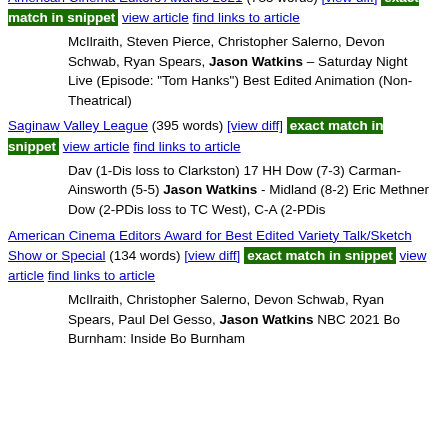piano, electric piano, mellotron, vocals (2006-present) Matt
American Cinema Editors Awards 2021 (735 words) [view diff] exact match in snippet view article find links to article
McIlraith, Steven Pierce, Christopher Salerno, Devon Schwab, Ryan Spears, Jason Watkins – Saturday Night Live (Episode: "Tom Hanks") Best Edited Animation (Non-Theatrical)
Saginaw Valley League (395 words) [view diff] exact match in snippet view article find links to article
Dav (1-Dis loss to Clarkston) 17 HH Dow (7-3) Carman-Ainsworth (5-5) Jason Watkins - Midland (8-2) Eric Methner Dow (2-PDis loss to TC West), C-A (2-PDis
American Cinema Editors Award for Best Edited Variety Talk/Sketch Show or Special (134 words) [view diff] exact match in snippet view article find links to article
McIlraith, Christopher Salerno, Devon Schwab, Ryan Spears, Paul Del Gesso, Jason Watkins NBC 2021 Bo Burnham: Inside Bo Burnham